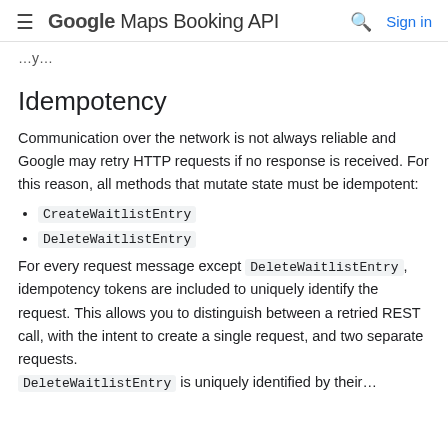≡ Google Maps Booking API 🔍 Sign in
…y…
Idempotency
Communication over the network is not always reliable and Google may retry HTTP requests if no response is received. For this reason, all methods that mutate state must be idempotent:
CreateWaitlistEntry
DeleteWaitlistEntry
For every request message except DeleteWaitlistEntry, idempotency tokens are included to uniquely identify the request. This allows you to distinguish between a retried REST call, with the intent to create a single request, and two separate requests.
DeleteWaitlistEntry is uniquely identified by their…